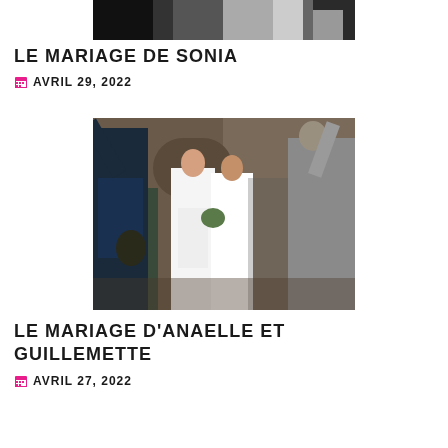[Figure (photo): Top portion of a wedding photo showing a dress/figure, partially cropped]
LE MARIAGE DE SONIA
📅 AVRIL 29, 2022
[Figure (photo): Wedding photo showing a bride and another person in white walking out of a stone archway while guests cheer with arms raised]
LE MARIAGE D'ANAELLE ET GUILLEMETTE
📅 AVRIL 27, 2022